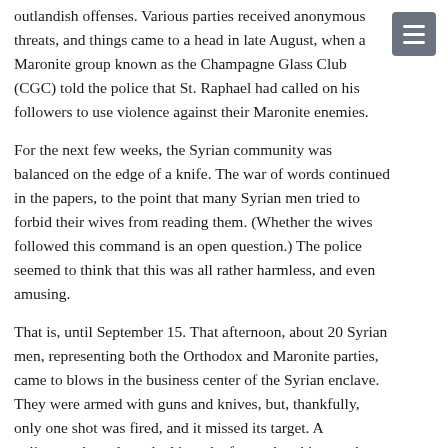outlandish offenses. Various parties received anonymous threats, and things came to a head in late August, when a Maronite group known as the Champagne Glass Club (CGC) told the police that St. Raphael had called on his followers to use violence against their Maronite enemies.
For the next few weeks, the Syrian community was balanced on the edge of a knife. The war of words continued in the papers, to the point that many Syrian men tried to forbid their wives from reading them. (Whether the wives followed this command is an open question.) The police seemed to think that this was all rather harmless, and even amusing.
That is, until September 15. That afternoon, about 20 Syrian men, representing both the Orthodox and Maronite parties, came to blows in the business center of the Syrian enclave. They were armed with guns and knives, but, thankfully, only one shot was fired, and it missed its target. A policeman bravely rushed into the fracas, breaking up the fight and arresting three men. One of the arrested Syrians, Haiss Nahas, had a slight head wound – the day's only injury, caused when he was